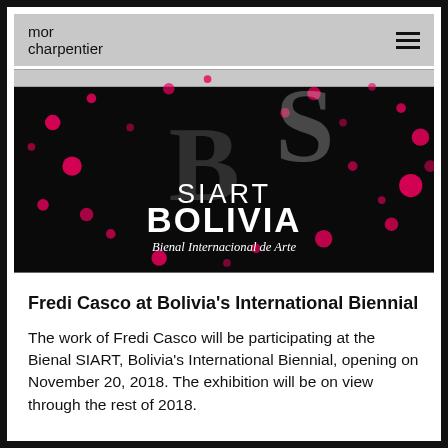mor charpentier
[Figure (illustration): SIART Bolivia – Bienal Internacional de Arte banner. Black background with scattered hot-pink/magenta dots and a large stylized 'S' and 'B' logo in white. Text reads: SIART BOLIVIA Bienal Internacional de Arte]
Fredi Casco at Bolivia's International Biennial
The work of Fredi Casco will be participating at the Bienal SIART, Bolivia's International Biennial, opening on November 20, 2018. The exhibition will be on view through the rest of 2018.